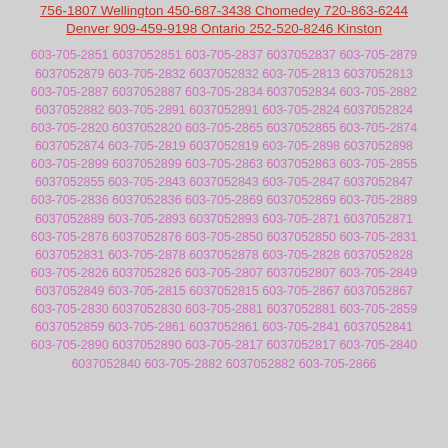756-1807 Wellington 450-687-3438 Chomedey 720-863-6244 Denver 909-459-9198 Ontario 252-520-8246 Kinston
603-705-2851 6037052851 603-705-2837 6037052837 603-705-2879 6037052879 603-705-2832 6037052832 603-705-2813 6037052813 603-705-2887 6037052887 603-705-2834 6037052834 603-705-2882 6037052882 603-705-2891 6037052891 603-705-2824 6037052824 603-705-2820 6037052820 603-705-2865 6037052865 603-705-2874 6037052874 603-705-2819 6037052819 603-705-2898 6037052898 603-705-2899 6037052899 603-705-2863 6037052863 603-705-2855 6037052855 603-705-2843 6037052843 603-705-2847 6037052847 603-705-2836 6037052836 603-705-2869 6037052869 603-705-2889 6037052889 603-705-2893 6037052893 603-705-2871 6037052871 603-705-2876 6037052876 603-705-2850 6037052850 603-705-2831 6037052831 603-705-2878 6037052878 603-705-2828 6037052828 603-705-2826 6037052826 603-705-2807 6037052807 603-705-2849 6037052849 603-705-2815 6037052815 603-705-2867 6037052867 603-705-2830 6037052830 603-705-2881 6037052881 603-705-2859 6037052859 603-705-2861 6037052861 603-705-2841 6037052841 603-705-2890 6037052890 603-705-2817 6037052817 603-705-2840 6037052840 603-705-2882 6037052882 603-705-2866